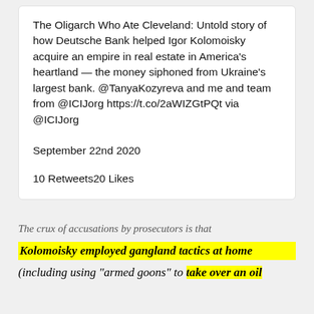The Oligarch Who Ate Cleveland: Untold story of how Deutsche Bank helped Igor Kolomoisky acquire an empire in real estate in America's heartland — the money siphoned from Ukraine's largest bank. @TanyaKozyreva and me and team from @ICIJorg https://t.co/2aWIZGtPQt via @ICIJorg
September 22nd 2020
10 Retweets20 Likes
The crux of accusations by prosecutors is that
Kolomoisky employed gangland tactics at home
(including using "armed goons" to  take over an oil